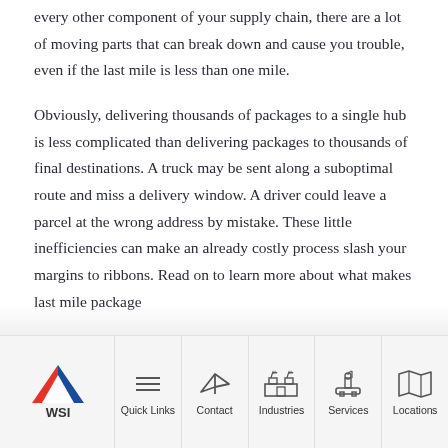every other component of your supply chain, there are a lot of moving parts that can break down and cause you trouble, even if the last mile is less than one mile.
Obviously, delivering thousands of packages to a single hub is less complicated than delivering packages to thousands of final destinations. A truck may be sent along a suboptimal route and miss a delivery window. A driver could leave a parcel at the wrong address by mistake. These little inefficiencies can make an already costly process slash your margins to ribbons. Read on to learn more about what makes last mile package
WSI | Quick Links | Contact | Industries | Services | Locations